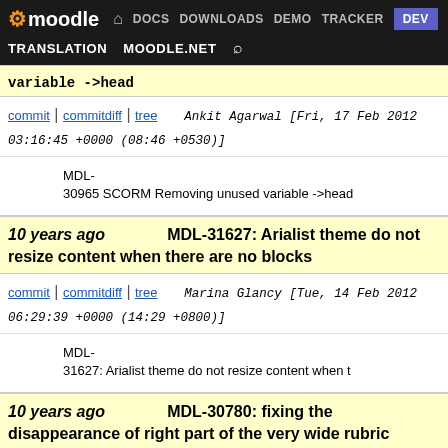moodle DOCS DOWNLOADS DEMO TRACKER DEV TRANSLATION MOODLE.NET
variable ->head
commit | commitdiff | tree   Ankit Agarwal [Fri, 17 Feb 2012 03:16:45 +0000 (08:46 +0530)]
MDL-30965 SCORM Removing unused variable ->head
10 years ago   MDL-31627: Arialist theme do not resize content when there are no blocks
commit | commitdiff | tree   Marina Glancy [Tue, 14 Feb 2012 06:29:39 +0000 (14:29 +0800)]
MDL-31627: Arialist theme do not resize content when t
10 years ago   MDL-30780: fixing the disappearance of right part of the very wide rubric
commit | commitdiff | tree   Marina Glancy [Wed, 15 Feb 2012 06:56:26 +0000 (14:56 +0800)]